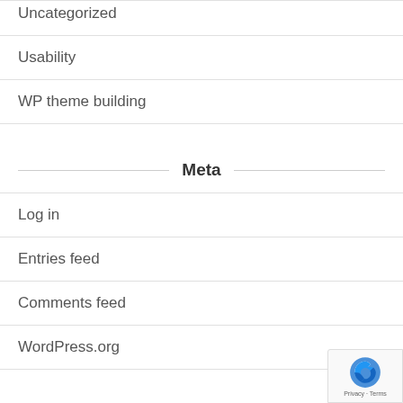Uncategorized
Usability
WP theme building
Meta
Log in
Entries feed
Comments feed
WordPress.org